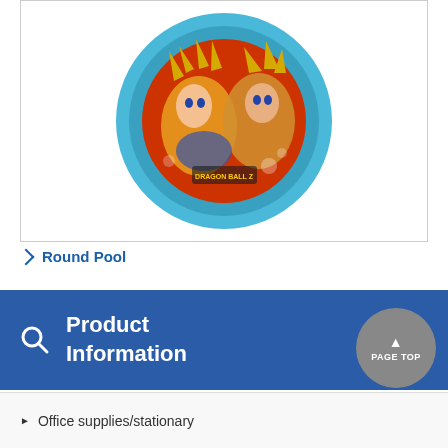[Figure (photo): Round inflatable children's pool with blue ring border and Dragon Ball Z anime characters printed on the bottom interior, showing fighting characters with yellow hair on a red background. View from above.]
> Round Pool
Product Information
Office supplies/stationary